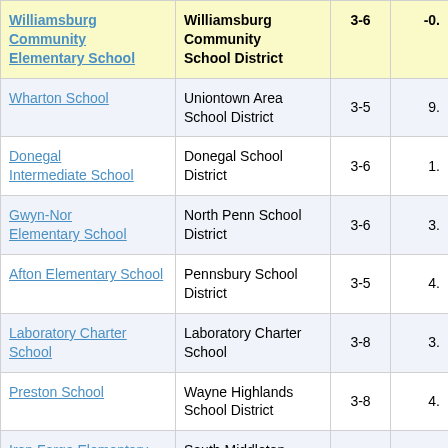| School | District | Grades | Score |
| --- | --- | --- | --- |
| Williamsburg Community Elementary School | Williamsburg Community School District | 3-6 | -0. |
| Wharton School | Uniontown Area School District | 3-5 | 9. |
| Donegal Intermediate School | Donegal School District | 3-6 | 1. |
| Gwyn-Nor Elementary School | North Penn School District | 3-6 | 3. |
| Afton Elementary School | Pennsbury School District | 3-5 | 4. |
| Laboratory Charter School | Laboratory Charter School | 3-8 | 3. |
| Preston School | Wayne Highlands School District | 3-8 | 4. |
| Iron Forge Elementary School | South Middleton School District | 3-5 | 3. |